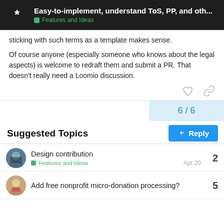Easy-to-implement, understand ToS, PP, and oth... | Features and Ideas
sticking with such terms as a template makes sense.
Of course anyone (especially someone who knows about the legal aspects) is welcome to redraft them and submit a PR. That doesn't really need a Loomio discussion.
6 / 6
Reply
Suggested Topics
Design contribution
Features and Ideas
Apr 20
2
Add free nonprofit micro-donation processing?
5